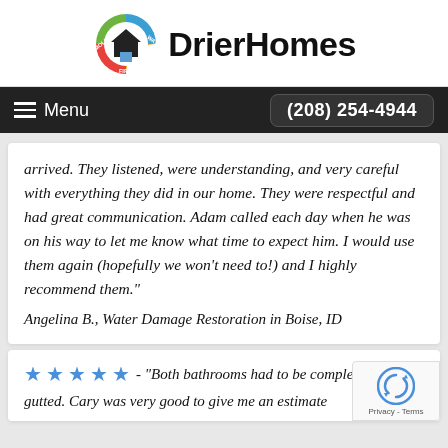[Figure (logo): DrierHomes logo with circular icon showing house silhouette and colorful ring with MOLD, WATER, FIRE labels, followed by bold text DrierHomes]
Menu   (208) 254-4944
arrived. They listened, were understanding, and very careful with everything they did in our home. They were respectful and had great communication. Adam called each day when he was on his way to let me know what time to expect him. I would use them again (hopefully we won't need to!) and I highly recommend them."
Angelina B., Water Damage Restoration in Boise, ID
★★★★★ - "Both bathrooms had to be comple gutted. Cary was very good to give me an estimate